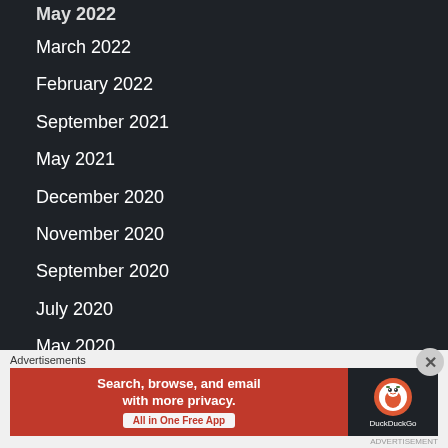May 2022
March 2022
February 2022
September 2021
May 2021
December 2020
November 2020
September 2020
July 2020
May 2020
April 2020
March 2020
July 2018
March 2018
December 2017
[Figure (other): DuckDuckGo advertisement banner: Search, browse, and email with more privacy. All in One Free App.]